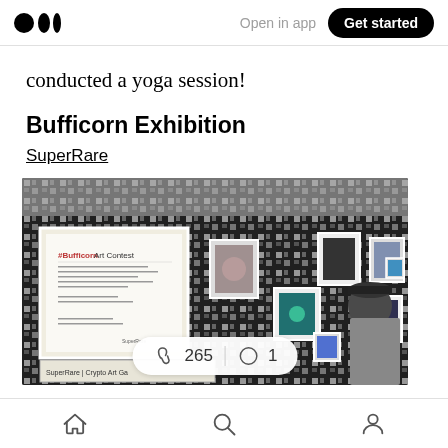Open in app | Get started
conducted a yoga session!
Bufficorn Exhibition
SuperRare
[Figure (photo): Photo of a gallery wall with black-and-white patterned wallpaper, framed artworks hung on the wall, a large framed 'Bufficorn Art Contest' poster on the left, a 'SuperRare | Crypto Art Ga...' sign at the bottom, and a person in a cap on the right. A reaction bar shows clap icon with 265 and comment icon with 1.]
Home | Search | Profile